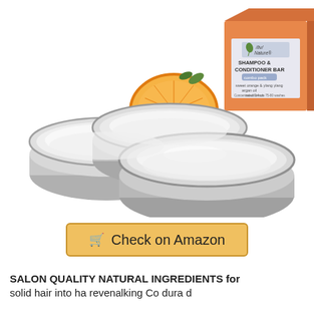[Figure (photo): Product photo of /liv/ Nature Shampoo & Conditioner Bar combo pack showing three silver/aluminum travel tins with shampoo and conditioner bars, an orange box packaging labeled 'SHAMPOO & CONDITIONER BAR combo pack sweet orange & ylang ylang argan oil', and orange fruit slices and argan nuts in the background.]
Check on Amazon
SALON QUALITY NATURAL INGREDIENTS for solid hairinta ha revenalking Co dura d